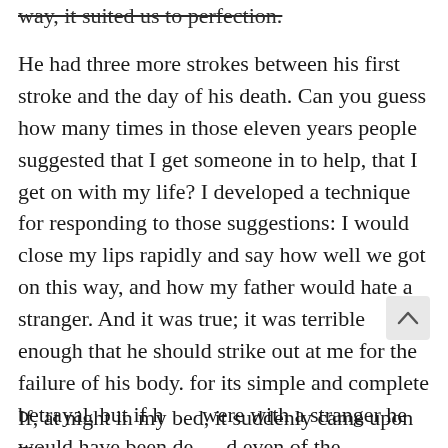way, it suited us to perfection.
He had three more strokes between his first stroke and the day of his death. Can you guess how many times in those eleven years people suggested that I get someone in to help, that I get on with my life? I developed a technique for responding to those suggestions: I would close my lips rapidly and say how well we got on this way, and how my father would hate a stranger. And it was true; it was terrible enough that he should strike out at me for the failure of his body. for its simple and complete betrayal, but if h were with a stranger he would have been deprived even of the consolation of his rage. And we were connected by the flesh, so if anyone should minister to the decay of my father's, it should be I.
If, at night in my bed, it suddenly came upon me